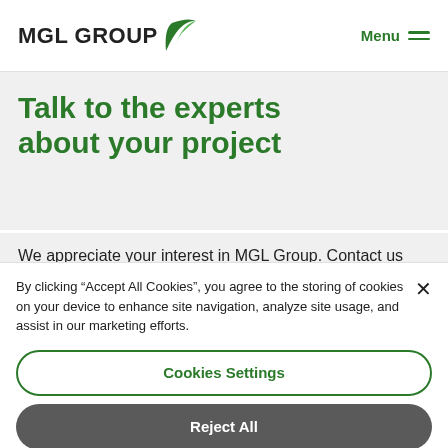MGL GROUP | Menu
Talk to the experts about your project
We appreciate your interest in MGL Group. Contact us today
By clicking “Accept All Cookies”, you agree to the storing of cookies on your device to enhance site navigation, analyze site usage, and assist in our marketing efforts.
Cookies Settings
Reject All
Accept All Cookies